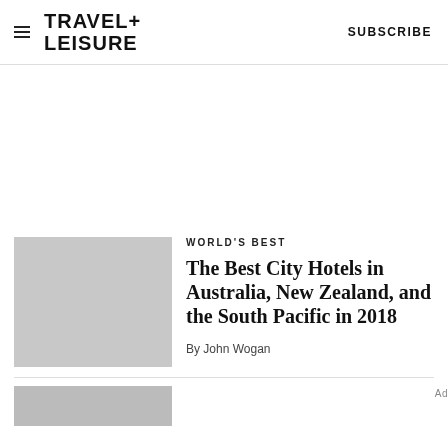TRAVEL+ LEISURE   SUBSCRIBE
[Figure (other): Gray advertisement placeholder area]
[Figure (photo): Gray thumbnail image placeholder for article]
WORLD'S BEST
The Best City Hotels in Australia, New Zealand, and the South Pacific in 2018
By John Wogan
[Figure (photo): Gray thumbnail image at bottom of page]
Ad